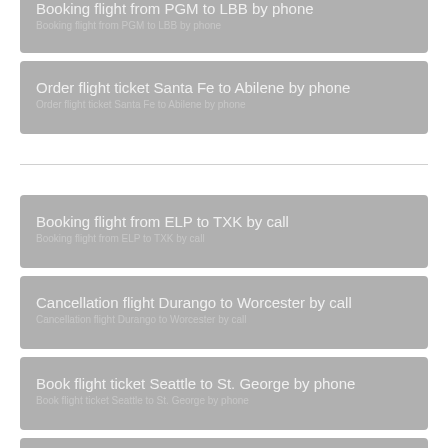Booking flight from PGM to LBB by phone
Order flight ticket Santa Fe to Abilene by phone
Booking flight from ELP to TXK by call
Cancellation flight Durango to Worcester by call
Book flight ticket Seattle to St. George by phone
Rebooking ticket flight from BIL to HOU by phone
Cancellation ticket flight from HRL to LNK by phone